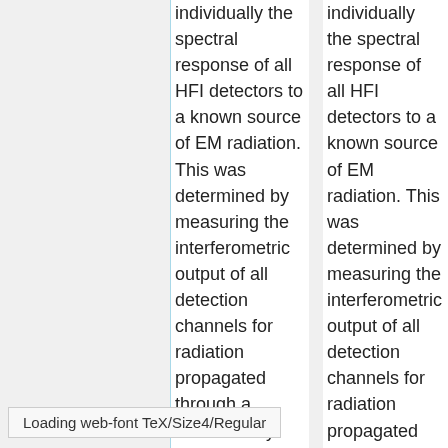individually the spectral response of all HFI detectors to a known source of EM radiation. This was determined by measuring the interferometric output of all detection channels for radiation propagated through a continuously scanned polarizing FTS. The required accuracy to which the spectral
individually the spectral response of all HFI detectors to a known source of EM radiation. This was determined by measuring the interferometric output of all detection channels for radiation propagated through a continuously scanned polarizing FTS. The required accuracy to which the spectral
Loading web-font TeX/Size4/Regular